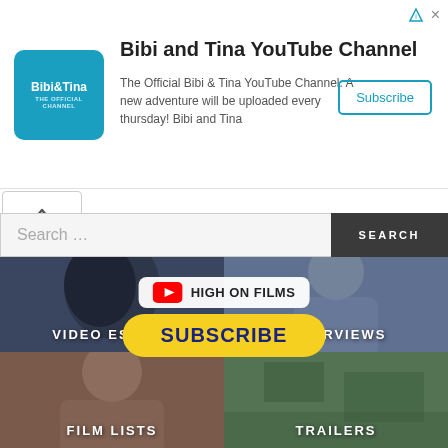[Figure (screenshot): Advertisement banner for Bibi and Tina YouTube Channel with logo, description text, and Subscribe button]
Bibi and Tina YouTube Channel
The Official Bibi & Tina YouTube Channel. A new adventure will be uploaded every thursday! Bibi and Tina
[Figure (screenshot): Search bar with upward chevron button and SEARCH button on dark background]
[Figure (screenshot): Four-cell grid showing VIDEO ESSAYS, INTERVIEWS, FILM LISTS, TRAILERS categories with a HIGH ON FILMS SUBSCRIBE overlay button]